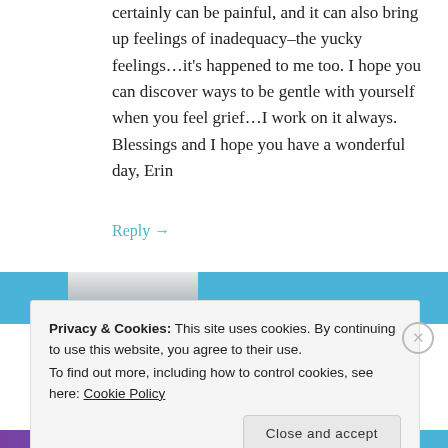certainly can be painful, and it can also bring up feelings of inadequacy–the yucky feelings…it's happened to me too. I hope you can discover ways to be gentle with yourself when you feel grief…I work on it always. Blessings and I hope you have a wonderful day, Erin
Reply →
[Figure (screenshot): Thumbnail bar with blue sections and a beach-scene image with a badge showing '05']
Privacy & Cookies: This site uses cookies. By continuing to use this website, you agree to their use.
To find out more, including how to control cookies, see here: Cookie Policy
Close and accept